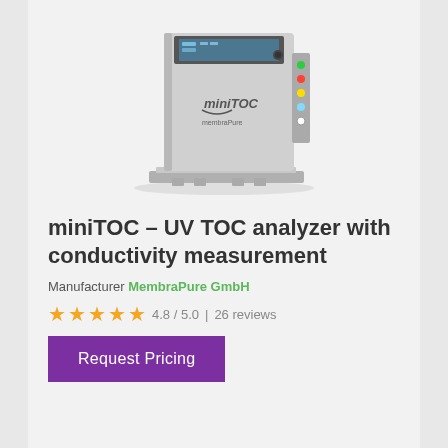[Figure (photo): Photo of the miniTOC UV TOC analyzer device — a stainless steel box-shaped instrument with a small display screen at the top, colored indicator ports on the right side, and the miniTOC / membraPure branding on the front face. The device sits on a flat base plate.]
miniTOC – UV TOC analyzer with conductivity measurement
Manufacturer MembraPure GmbH
4.8 / 5.0 | 26 reviews
Request Pricing